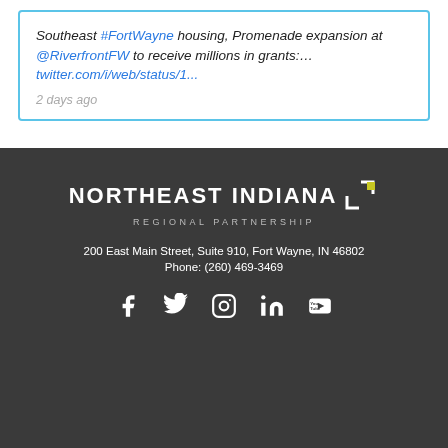Southeast #FortWayne housing, Promenade expansion at @RiverfrontFW to receive millions in grants:… twitter.com/i/web/status/1...
2 days ago
[Figure (logo): Northeast Indiana Regional Partnership logo with bracket/square icon in white and yellow-green]
200 East Main Street, Suite 910, Fort Wayne, IN 46802
Phone: (260) 469-3469
[Figure (infographic): Social media icons: Facebook, Twitter, Instagram, LinkedIn, YouTube]